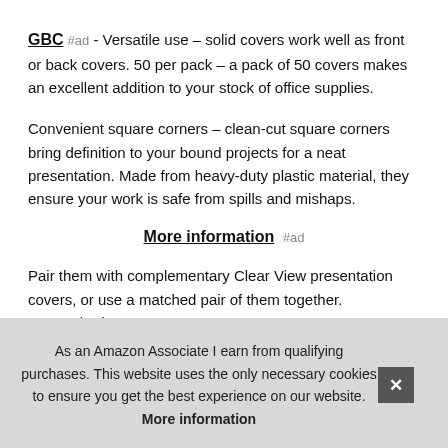GBC #ad - Versatile use – solid covers work well as front or back covers. 50 per pack – a pack of 50 covers makes an excellent addition to your stock of office supplies.
Convenient square corners – clean-cut square corners bring definition to your bound projects for a neat presentation. Made from heavy-duty plastic material, they ensure your work is safe from spills and mishaps.
More information #ad
Pair them with complementary Clear View presentation covers, or use a matched pair of them together. Unpunched for e bino cove prot
As an Amazon Associate I earn from qualifying purchases. This website uses the only necessary cookies to ensure you get the best experience on our website. More information